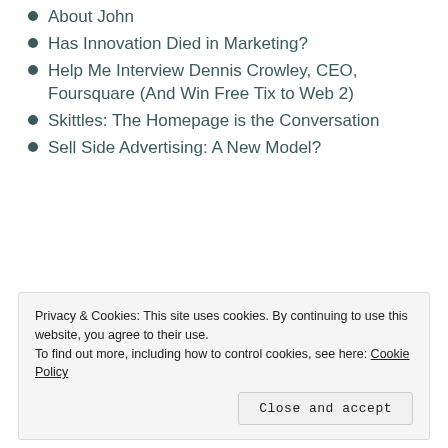About John
Has Innovation Died in Marketing?
Help Me Interview Dennis Crowley, CEO, Foursquare (And Win Free Tix to Web 2)
Skittles: The Homepage is the Conversation
Sell Side Advertising: A New Model?
Privacy & Cookies: This site uses cookies. By continuing to use this website, you agree to their use.
To find out more, including how to control cookies, see here: Cookie Policy